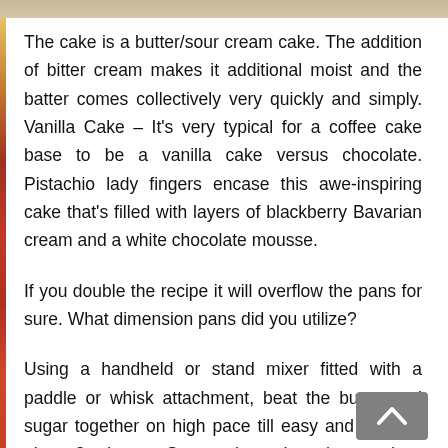[Figure (photo): Partial image strip at the top of the page showing a cake or food item]
The cake is a butter/sour cream cake. The addition of bitter cream makes it additional moist and the batter comes collectively very quickly and simply. Vanilla Cake – It's very typical for a coffee cake base to be a vanilla cake versus chocolate. Pistachio lady fingers encase this awe-inspiring cake that's filled with layers of blackberry Bavarian cream and a white chocolate mousse.
If you double the recipe it will overflow the pans for sure. What dimension pans did you utilize?
Using a handheld or stand mixer fitted with a paddle or whisk attachment, beat the butter and sugar together on high pace till easy and creamy, about 3 minutes. Scrape down the edges and up the underside of the bowl with a rubber spatula as needed. Beat within the 3 eggs, 2 egg whites, and vanilla extract on excessive pace till combined, about 2 minutes. (Mixture will look curdled because of the egg liquid and stable butter combining.) Scrape down the perimeters